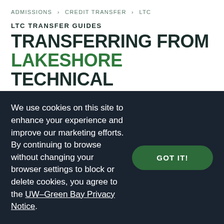ADMISSIONS > CREDIT TRANSFER > LTC
LTC TRANSFER GUIDES
TRANSFERRING FROM LAKESHORE TECHNICAL COLLEGE?
An unofficial credit evaluation is the best way to understand how your credits will transfer towards your UW-Green Bay degree. If you're just looking
We use cookies on this site to enhance your experience and improve our marketing efforts. By continuing to browse without changing your browser settings to block or delete cookies, you agree to the UW–Green Bay Privacy Notice.